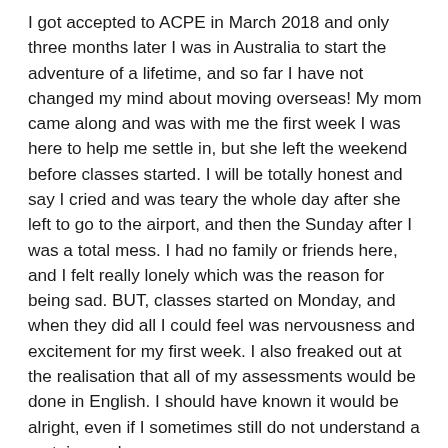I got accepted to ACPE in March 2018 and only three months later I was in Australia to start the adventure of a lifetime, and so far I have not changed my mind about moving overseas! My mom came along and was with me the first week I was here to help me settle in, but she left the weekend before classes started. I will be totally honest and say I cried and was teary the whole day after she left to go to the airport, and then the Sunday after I was a total mess. I had no family or friends here, and I felt really lonely which was the reason for being sad. BUT, classes started on Monday, and when they did all I could feel was nervousness and excitement for my first week. I also freaked out at the realisation that all of my assessments would be done in English. I should have known it would be alright, even if I sometimes still do not understand a certain word.